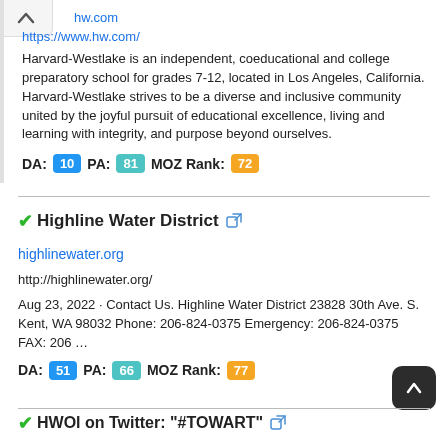https://www.hw.com/
Harvard-Westlake is an independent, coeducational and college preparatory school for grades 7-12, located in Los Angeles, California. Harvard-Westlake strives to be a diverse and inclusive community united by the joyful pursuit of educational excellence, living and learning with integrity, and purpose beyond ourselves.
DA: 10  PA: 81  MOZ Rank: 72
Highline Water District
highlinewater.org
http://highlinewater.org/
Aug 23, 2022 · Contact Us. Highline Water District 23828 30th Ave. S. Kent, WA 98032 Phone: 206-824-0375 Emergency: 206-824-0375 FAX: 206 …
DA: 51  PA: 66  MOZ Rank: 77
HWOl on Twitter: "#TOWART"